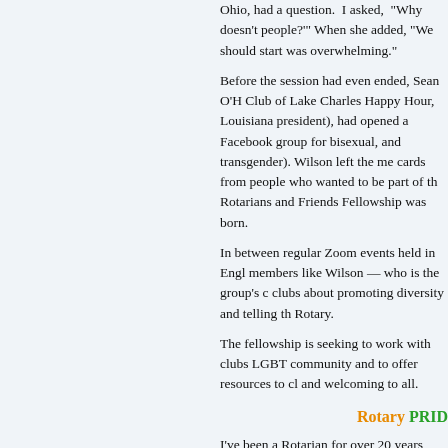Ohio, had a question. I asked, "Why doesn't people?'" When she added, "We should start was overwhelming."
Before the session had even ended, Sean O'H Club of Lake Charles Happy Hour, Louisiana president), had opened a Facebook group for bisexual, and transgender). Wilson left the me cards from people who wanted to be part of th Rotarians and Friends Fellowship was born.
In between regular Zoom events held in Engl members like Wilson — who is the group's c clubs about promoting diversity and telling th Rotary.
The fellowship is seeking to work with clubs LGBT community and to offer resources to cl and welcoming to all.
Rotary PRID
I've been a Rotarian for over 20 years, and Se I'm 66 and came out at age 61. Serving the L acknowledgment that many others went befor of service. — Ronald Schoenmehl, Rotary C Breakfast, California
When I became president of my club, my hus following year, when I passed my gavel, my h outs side th li d i d t f th